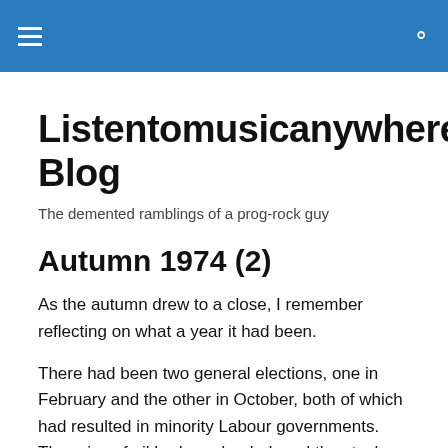Listentomusicanywhere's Blog
The demented ramblings of a prog-rock guy
Autumn 1974 (2)
As the autumn drew to a close, I remember reflecting on what a year it had been.
There had been two general elections, one in February and the other in October, both of which had resulted in minority Labour governments.  The price of oil had quadrupled, and the stock market had lost a uniquely